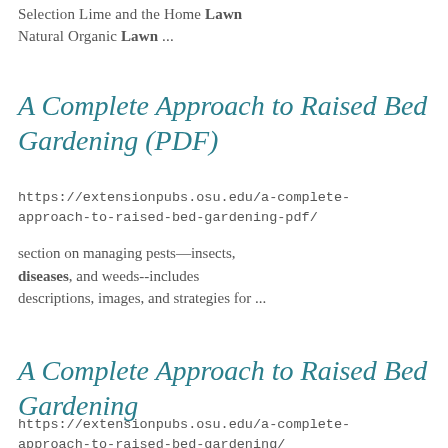Selection Lime and the Home Lawn Natural Organic Lawn ...
A Complete Approach to Raised Bed Gardening (PDF)
https://extensionpubs.osu.edu/a-complete-approach-to-raised-bed-gardening-pdf/
section on managing pests—insects, diseases, and weeds--includes descriptions, images, and strategies for ...
A Complete Approach to Raised Bed Gardening
https://extensionpubs.osu.edu/a-complete-approach-to-raised-bed-gardening/